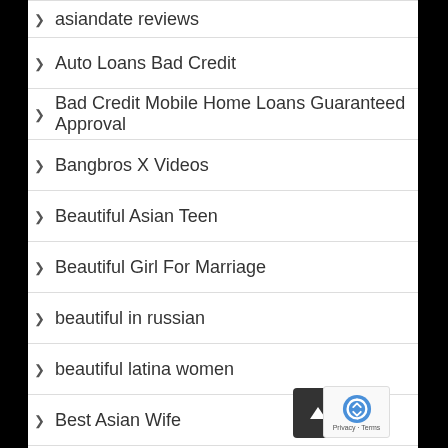asiandate reviews
Auto Loans Bad Credit
Bad Credit Mobile Home Loans Guaranteed Approval
Bangbros X Videos
Beautiful Asian Teen
Beautiful Girl For Marriage
beautiful in russian
beautiful latina women
Best Asian Wife
best cbd brands